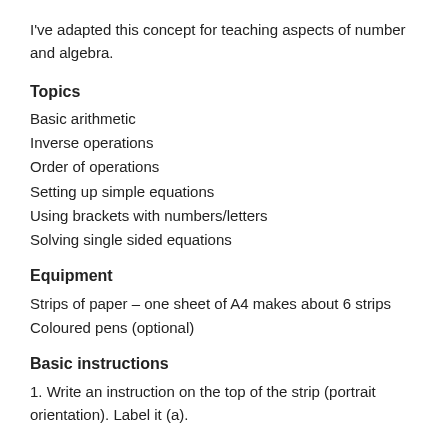I've adapted this concept for teaching aspects of number and algebra.
Topics
Basic arithmetic
Inverse operations
Order of operations
Setting up simple equations
Using brackets with numbers/letters
Solving single sided equations
Equipment
Strips of paper – one sheet of A4 makes about 6 strips
Coloured pens (optional)
Basic instructions
1. Write an instruction on the top of the strip (portrait orientation). Label it (a).